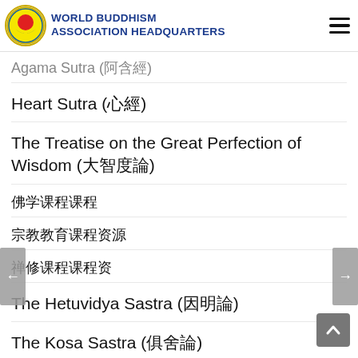WORLD BUDDHISM ASSOCIATION HEADQUARTERS
Agama Sutra (阿含經)
Heart Sutra (心經)
The Treatise on the Great Perfection of Wisdom (大智度論)
佛學課程
宗教教育
禪修課程
The Hetuvidya Sastra (因明論)
The Kosa Sastra (俱舍論)